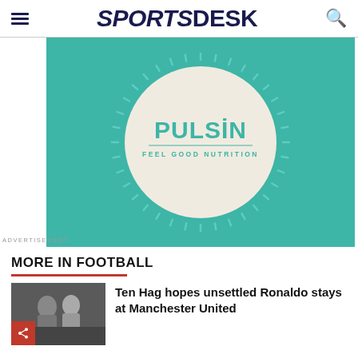SPORTSDESK
[Figure (logo): Pulsin Feel Good Nutrition advertisement banner with teal background and circular logo]
ADVERTISEMENT
MORE IN FOOTBALL
Ten Hag hopes unsettled Ronaldo stays at Manchester United